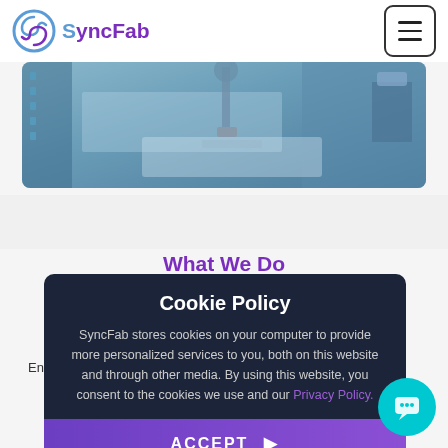[Figure (logo): SyncFab logo with stylized S icon in blue and 'SyncFab' text in purple]
[Figure (photo): Industrial manufacturing machinery photo, bluish tones, CNC or robotic equipment]
What We Do
E... d
Ent...
Cookie Policy
SyncFab stores cookies on your computer to provide more personalized services to you, both on this website and through other media. By using this website, you consent to the cookies we use and our Privacy Policy.
ACCEPT